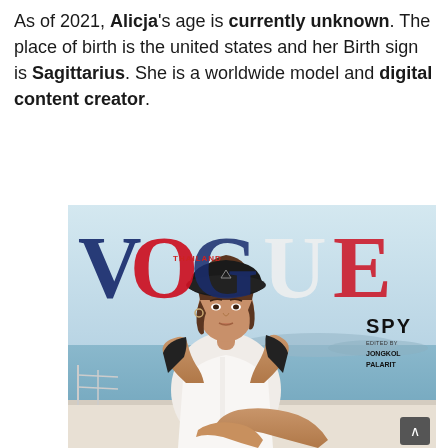As of 2021, Alicja's age is currently unknown. The place of birth is the united states and her Birth sign is Sagittarius. She is a worldwide model and digital content creator.
[Figure (photo): Vogue Thailand magazine cover featuring a female model wearing a black bucket hat and white shirt dress, sitting on a yacht with ocean in the background. The cover shows VOGUE in large letters (V and G in navy blue, O in red, U in white, E in red), with THAILAND subtitle in red, and SPY section with editor credit to Jongkol Palarit.]